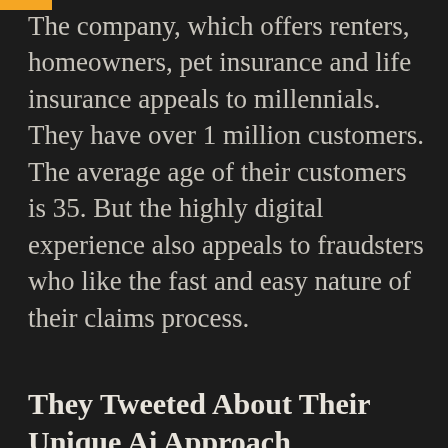The company, which offers renters, homeowners, pet insurance and life insurance appeals to millennials. They have over 1 million customers. The average age of their customers is 35. But the highly digital experience also appeals to fraudsters who like the fast and easy nature of their claims process.
They Tweeted About Their Unique Ai Approach